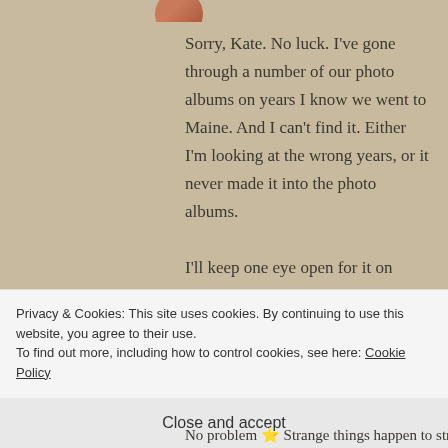[Figure (photo): Partial avatar/profile photo at top of comment]
Sorry, Kate. No luck. I've gone through a number of our photo albums on years I know we went to Maine. And I can't find it. Either I'm looking at the wrong years, or it never made it into the photo albums.

I'll keep one eye open for it on future forays and will share if I find it.
Privacy & Cookies: This site uses cookies. By continuing to use this website, you agree to their use.
To find out more, including how to control cookies, see here: Cookie Policy
Close and accept
No problem 🌟 Strange things happen to strange